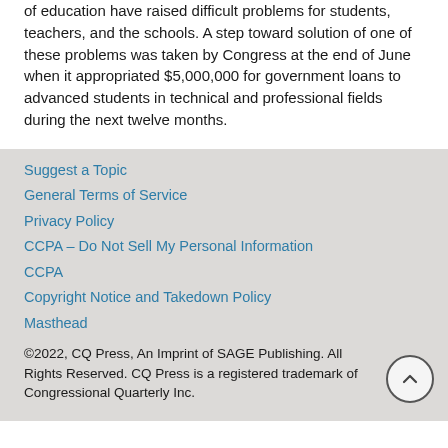of education have raised difficult problems for students, teachers, and the schools. A step toward solution of one of these problems was taken by Congress at the end of June when it appropriated $5,000,000 for government loans to advanced students in technical and professional fields during the next twelve months.
Suggest a Topic
General Terms of Service
Privacy Policy
CCPA – Do Not Sell My Personal Information
CCPA
Copyright Notice and Takedown Policy
Masthead
©2022, CQ Press, An Imprint of SAGE Publishing. All Rights Reserved. CQ Press is a registered trademark of Congressional Quarterly Inc.